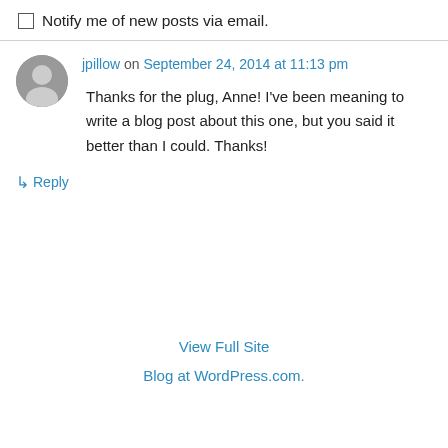Notify me of new posts via email.
jpillow on September 24, 2014 at 11:13 pm
Thanks for the plug, Anne! I’ve been meaning to write a blog post about this one, but you said it better than I could. Thanks!
↳ Reply
View Full Site
Blog at WordPress.com.